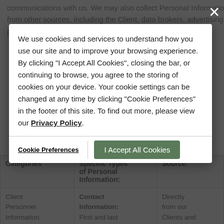communications with us. We may also collect Personal Information from other sources, including the Client, data brokers, advertising partners, and service providers.
We use cookies and services to understand how you use our site and to improve your browsing experience. By clicking "I Accept All Cookies", closing the bar, or continuing to browse, you agree to the storing of cookies on your device. Your cookie settings can be changed at any time by clicking "Cookie Preferences" in the footer of this site. To find out more, please view our Privacy Policy.
| Categories | Specific Types of Personal Information: | Source: |
| --- | --- | --- |
| Client Personnel Information | Contact Information: First and last name, email address, employer, phone number | Directly from our Clients and Client Personnel |